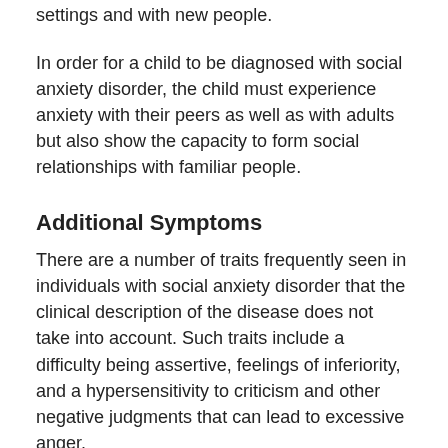settings and with new people.
In order for a child to be diagnosed with social anxiety disorder, the child must experience anxiety with their peers as well as with adults but also show the capacity to form social relationships with familiar people.
Additional Symptoms
There are a number of traits frequently seen in individuals with social anxiety disorder that the clinical description of the disease does not take into account. Such traits include a difficulty being assertive, feelings of inferiority, and a hypersensitivity to criticism and other negative judgments that can lead to excessive anger.
This hypersensitivity also results in fear of others making both direct and indirect judgments. Thus, individuals with social anxiety disorder may have extreme test anxiety or refuse to participate in class. This compromises academic performance and later professional performance and may lead to both dropping school and long term unemployment